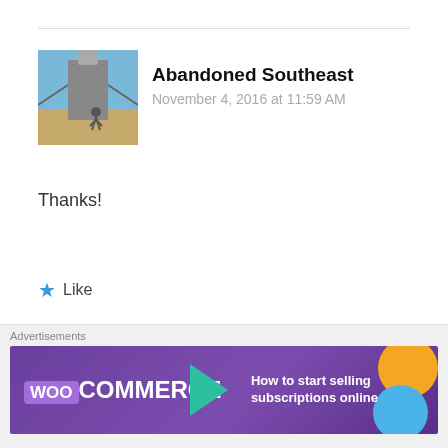Abandoned Southeast
November 4, 2016 at 11:59 AM
Thanks!
★ Like
Reply
Gilly
Advertisements
[Figure (screenshot): WooCommerce advertisement banner with text 'How to start selling subscriptions online']